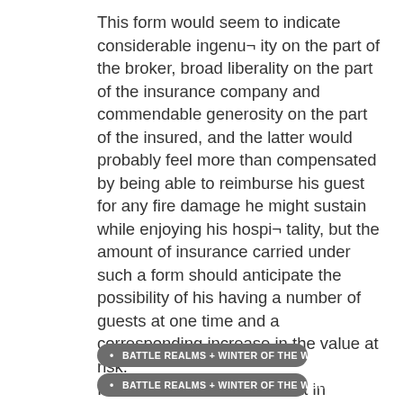This form would seem to indicate considerable ingenu¬ ity on the part of the broker, broad liberality on the part of the insurance company and commendable generosity on the part of the insured, and the latter would probably feel more than compensated by being able to reimburse his guest for any fire damage he might sustain while enjoying his hospi¬ tality, but the amount of insurance carried under such a form should anticipate the possibility of his having a number of guests at one time and a corresponding increase in the value at risk.
It must be borne in mind that in localities where co-insurance conditions prevail the value of property belonging
• BATTLE REALMS + WINTER OF THE WOLF 2019
• BATTLE REALMS + WINTER OF THE WOLF DOWNLOAD